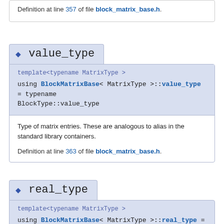Definition at line 357 of file block_matrix_base.h.
◆ value_type
template<typename MatrixType >
using BlockMatrixBase< MatrixType >::value_type = typename BlockType::value_type
Type of matrix entries. These are analogous to alias in the standard library containers.
Definition at line 363 of file block_matrix_base.h.
◆ real_type
template<typename MatrixType >
using BlockMatrixBase< MatrixType >::real_type = typename